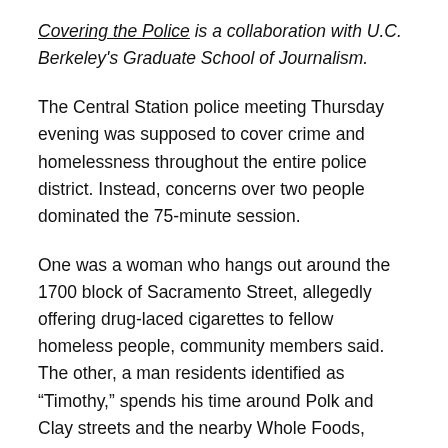Covering the Police is a collaboration with U.C. Berkeley's Graduate School of Journalism.
The Central Station police meeting Thursday evening was supposed to cover crime and homelessness throughout the entire police district. Instead, concerns over two people dominated the 75-minute session.
One was a woman who hangs out around the 1700 block of Sacramento Street, allegedly offering drug-laced cigarettes to fellow homeless people, community members said. The other, a man residents identified as “Timothy,” spends his time around Polk and Clay streets and the nearby Whole Foods, where he allegedly acts violently